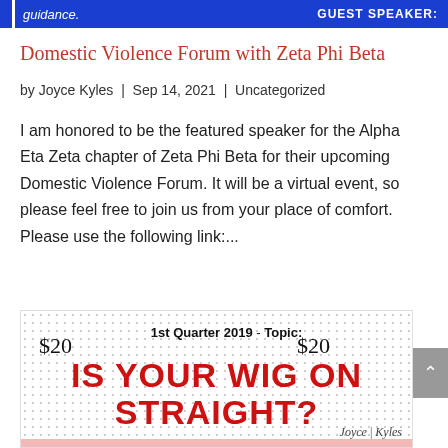guidance. | GUEST SPEAKER:
Domestic Violence Forum with Zeta Phi Beta
by Joyce Kyles | Sep 14, 2021 | Uncategorized
I am honored to be the featured speaker for the Alpha Eta Zeta chapter of Zeta Phi Beta for their upcoming Domestic Violence Forum. It will be a virtual event, so please feel free to join us from your place of comfort. Please use the following link:...
[Figure (infographic): Flyer for '1st Quarter 2019 Topic: IS YOUR WIG ON STRAIGHT?' event with $20 price, dotted background, Joyce Kyles signature, and RSVP options including Cash App $JoyceKyles or PayPal. Pink section at bottom with RSVP details, date February 23, 2019, 11 AM to 1PM, location/additional details provided after. A candid workshop/discussion for your mental and physical 2019.]